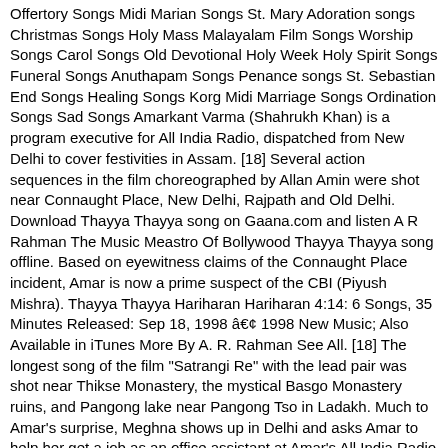Offertory Songs Midi Marian Songs St. Mary Adoration songs Christmas Songs Holy Mass Malayalam Film Songs Worship Songs Carol Songs Old Devotional Holy Week Holy Spirit Songs Funeral Songs Anuthapam Songs Penance songs St. Sebastian End Songs Healing Songs Korg Midi Marriage Songs Ordination Songs Sad Songs Amarkant Varma (Shahrukh Khan) is a program executive for All India Radio, dispatched from New Delhi to cover festivities in Assam. [18] Several action sequences in the film choreographed by Allan Amin were shot near Connaught Place, New Delhi, Rajpath and Old Delhi. Download Thayya Thayya song on Gaana.com and listen A R Rahman The Music Meastro Of Bollywood Thayya Thayya song offline. Based on eyewitness claims of the Connaught Place incident, Amar is now a prime suspect of the CBI (Piyush Mishra). Thayya Thayya Hariharan Hariharan 4:14: 6 Songs, 35 Minutes Released: Sep 18, 1998 â€¢ 1998 New Music; Also Available in iTunes More By A. R. Rahman See All. [18] The longest song of the film "Satrangi Re" with the lead pair was shot near Thikse Monastery, the mystical Basgo Monastery ruins, and Pangong lake near Pangong Tso in Ladakh. Much to Amar's surprise, Meghna shows up in Delhi and asks Amar to help her get a job as an office assistant at Amar's All India Radio office. [17] The song "Chaiyya Chaiyya" was shot between Malaika Arora and Shah Rukh Khan on top of the Nilgiri Express, en route Ooty, Coonoor and Kotagiri, the train is particularly painted in brown for the song sequence. [14].The film is owned by Red Chillies Entertainment.[15]. Pink Floyd bass guitarist Guy Pratt for post Roger Waters albums Delicate Sound of Thunder, The Division Bell and Pulse played bass on title song Dil Se Re.[35]. [19] Authors Sangita Gopal and Sujata Moorti of Global Bollywood: Travels of Hindi Song and